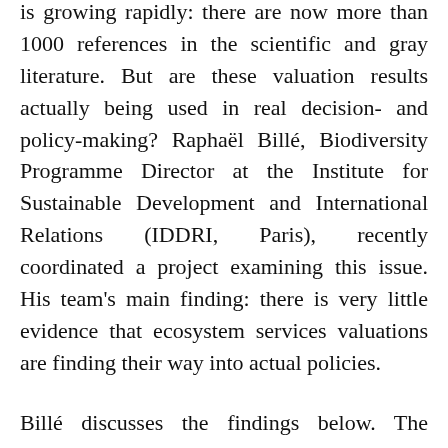is growing rapidly: there are now more than 1000 references in the scientific and gray literature. But are these valuation results actually being used in real decision- and policy-making? Raphaël Billé, Biodiversity Programme Director at the Institute for Sustainable Development and International Relations (IDDRI, Paris), recently coordinated a project examining this issue. His team's main finding: there is very little evidence that ecosystem services valuations are finding their way into actual policies.
Billé discusses the findings below. The project results are described in detail in two policy briefs – at http://www.iddri.org/Publications/Valuation-without-action-On-the-use-of-economic-valuations-of-ecosystem-services and http://bit.ly/Catskills (the latter is in French) –